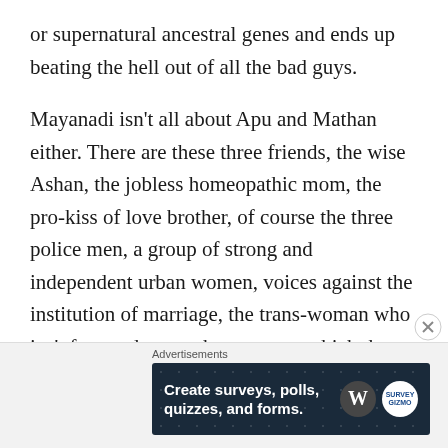or supernatural ancestral genes and ends up beating the hell out of all the bad guys.
Mayanadi isn't all about Apu and Mathan either. There are these three friends, the wise Ashan, the jobless homeopathic mom, the pro-kiss of love brother, of course the three police men, a group of strong and independent urban women, voices against the institution of marriage, the trans-woman who isn't frowned upon, the extent to which the Muslim female is oppressed no
[Figure (other): Advertisement banner: 'Create surveys, polls, quizzes, and forms.' with WordPress and SurveyMonkey logos on dark blue dotted background]